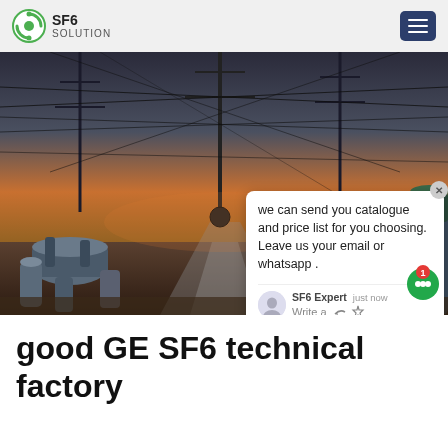SF6 SOLUTION
[Figure (photo): Electrical substation at dusk with high-voltage power lines, transmission towers, and SF6 equipment visible in the foreground. A live chat popup is overlaid on the right side of the image with the message: 'we can send you catalogue and price list for you choosing. Leave us your email or whatsapp.' SF6 Expert, just now. Write a [icons]. SF6China watermark in orange at bottom right.]
good GE SF6 technical factory